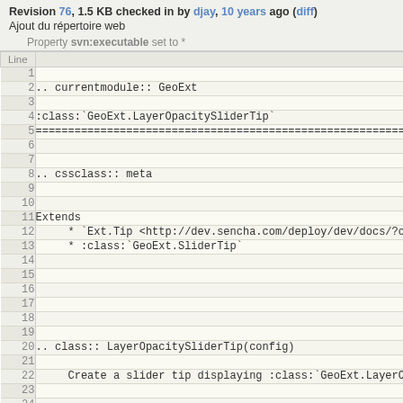Revision 76, 1.5 KB checked in by djay, 10 years ago (diff)
Ajout du répertoire web
Property svn:executable set to *
| Line |  |
| --- | --- |
| 1 |  |
| 2 | .. currentmodule:: GeoExt |
| 3 |  |
| 4 | :class:`GeoExt.LayerOpacitySliderTip` |
| 5 | ============================================================ |
| 6 |  |
| 7 |  |
| 8 | .. cssclass:: meta |
| 9 |  |
| 10 |  |
| 11 | Extends |
| 12 |      * `Ext.Tip <http://dev.sencha.com/deploy/dev/docs/?cl |
| 13 |      * :class:`GeoExt.SliderTip` |
| 14 |  |
| 15 |  |
| 16 |  |
| 17 |  |
| 18 |  |
| 19 |  |
| 20 | .. class:: LayerOpacitySliderTip(config) |
| 21 |  |
| 22 |      Create a slider tip displaying :class:`GeoExt.LayerOp |
| 23 |  |
| 24 |  |
| 25 |  |
| 26 | Example Use |
| 27 | ---------- |
| 28 |  |